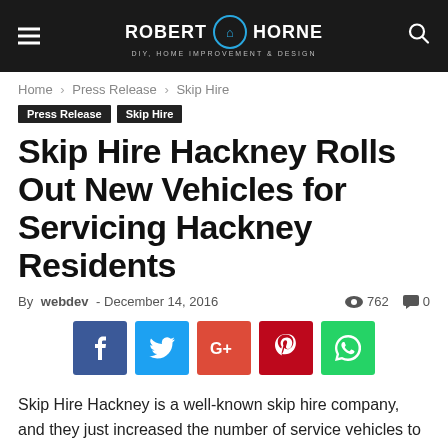ROBERT HORNE · DIY, HOME IMPROVEMENT & DESIGN
Home › Press Release › Skip Hire
Press Release
Skip Hire
Skip Hire Hackney Rolls Out New Vehicles for Servicing Hackney Residents
By webdev - December 14, 2016   762   0
[Figure (other): Social share buttons: Facebook (blue), Twitter (light blue), Google+ (red-orange), Pinterest (red), WhatsApp (green)]
Skip Hire Hackney is a well-known skip hire company, and they just increased the number of service vehicles to better serve and quickly respond to customers in Hackney. The vehicles including trucks and vans have already been deployed in various parts of Hackney to collect all kinds of waste including